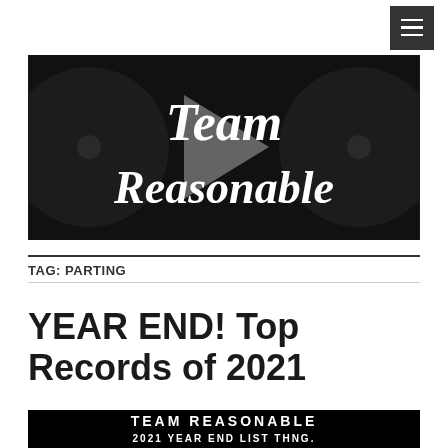Team Reasonable (menu button)
[Figure (logo): Team Reasonable cursive white text logo on dark vinyl record background]
TAG: PARTING
YEAR END! Top Records of 2021
[Figure (illustration): Team Reasonable 2021 Year End List Thing banner on black background with white outlined text]